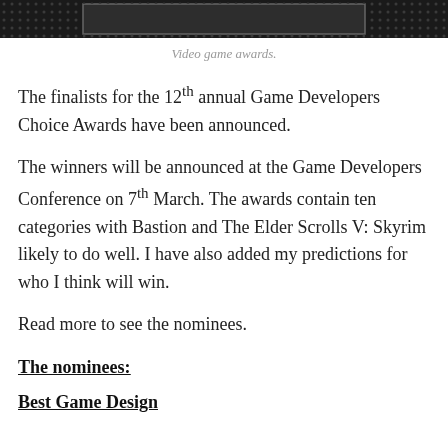[Figure (photo): Dark banner image showing a video game awards screen with a gray rectangle in the center on a dark dotted background]
Video game awards.
The finalists for the 12th annual Game Developers Choice Awards have been announced.
The winners will be announced at the Game Developers Conference on 7th March. The awards contain ten categories with Bastion and The Elder Scrolls V: Skyrim likely to do well. I have also added my predictions for who I think will win.
Read more to see the nominees.
The nominees:
Best Game Design